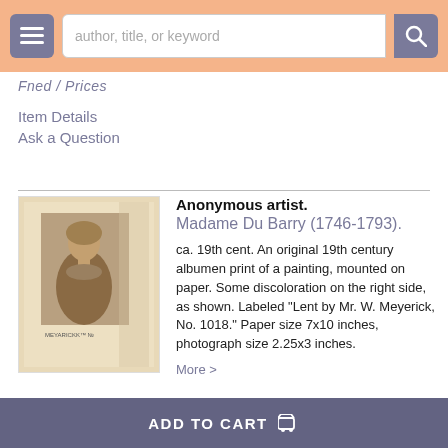author, title, or keyword [search bar]
Fned / Prices
Item Details
Ask a Question
[Figure (photo): Sepia-toned albumen print photograph of Madame Du Barry, a young woman, mounted on cream/beige paper with handwritten or printed label at bottom.]
Anonymous artist.
Madame Du Barry (1746-1793).
ca. 19th cent. An original 19th century albumen print of a painting, mounted on paper. Some discoloration on the right side, as shown. Labeled "Lent by Mr. W. Meyerick, No. 1018." Paper size 7x10 inches, photograph size 2.25x3 inches.
More >
ADD TO CART